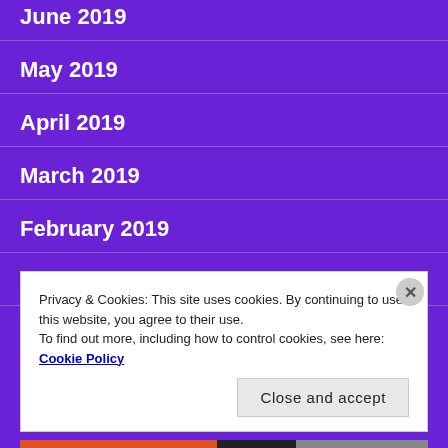June 2019
May 2019
April 2019
March 2019
February 2019
January 2019
Privacy & Cookies: This site uses cookies. By continuing to use this website, you agree to their use.
To find out more, including how to control cookies, see here: Cookie Policy
Close and accept